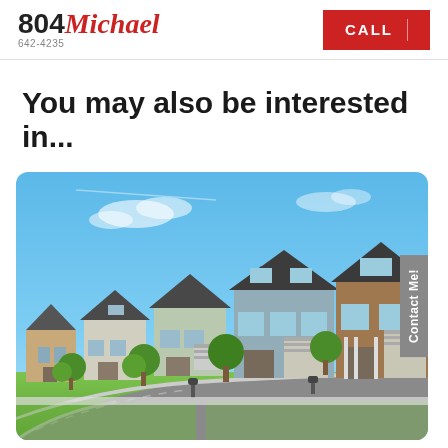804Michael 642-4235 | CALL
You may also be interested in...
[Figure (photo): Suburban neighborhood street view showing a row of two-story homes with dark roofs, varied siding colors (tan, green-blue, brown), garages, front porches, manicured lawns, trees, and a curving road under a blue sky with light clouds. A 'Contact Me!' tab appears on the right edge.]